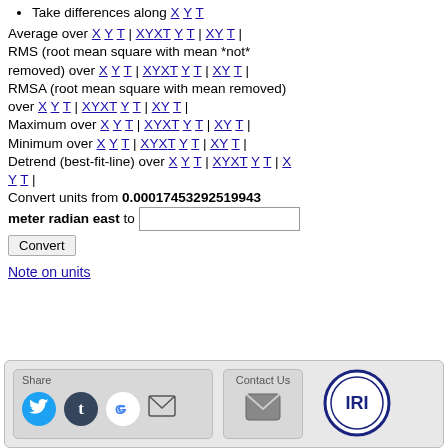Take differences along X Y T
Average over X Y T | X Y X T Y T | X Y T | RMS (root mean square with mean *not* removed) over X Y T | X Y X T Y T | X Y T | RMSA (root mean square with mean removed) over X Y T | X Y X T Y T | X Y T | Maximum over X Y T | X Y X T Y T | X Y T | Minimum over X Y T | X Y X T Y T | X Y T | Detrend (best-fit-line) over X Y T | X Y X T Y T | X Y T |
Convert units from 0.00017453292519943 meter radian east to [input] Convert
Note on units